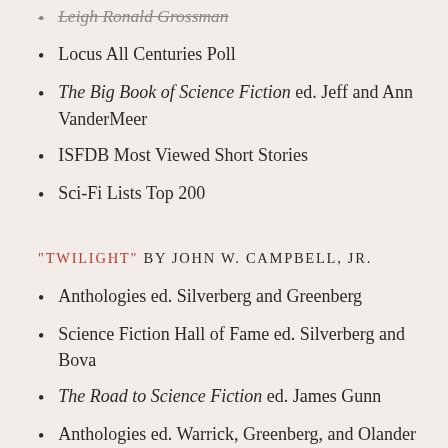Leigh Ronald Grossman
Locus All Centuries Poll
The Big Book of Science Fiction ed. Jeff and Ann VanderMeer
ISFDB Most Viewed Short Stories
Sci-Fi Lists Top 200
"TWILIGHT" BY JOHN W. CAMPBELL, JR.
Anthologies ed. Silverberg and Greenberg
Science Fiction Hall of Fame ed. Silverberg and Bova
The Road to Science Fiction ed. James Gunn
Anthologies ed. Warrick, Greenberg, and Olander